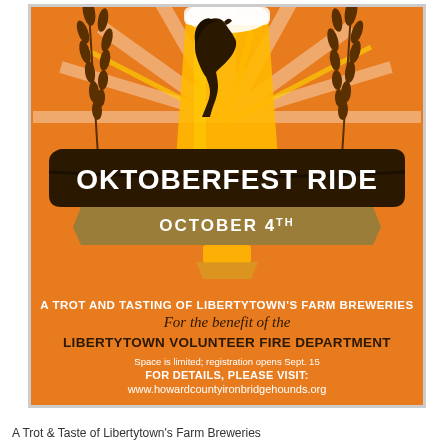[Figure (illustration): Oktoberfest Ride event poster with orange background, sunburst rays, beer glass with horse silhouette, wheat stalks, dark banner reading OKTOBERFEST RIDE, gold ribbon reading OCTOBER 4TH, and event details for a trot and tasting of Libertytown's Farm Breweries benefiting the Libertytown Volunteer Fire Department.]
A Trot & Taste of Libertytown's Farm Breweries